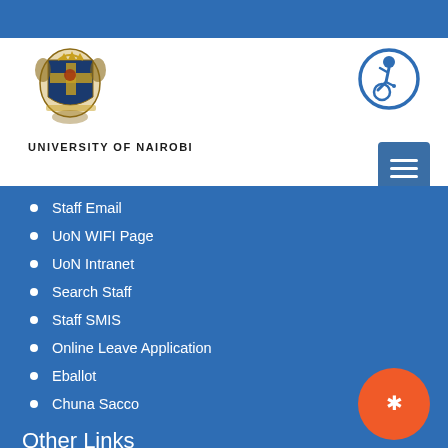[Figure (logo): University of Nairobi coat of arms logo with the text UNIVERSITY OF NAIROBI below]
[Figure (illustration): Accessibility icon - person in wheelchair inside blue circle]
[Figure (illustration): Hamburger menu button with three horizontal lines on blue background]
Staff Email
UoN WIFI Page
UoN Intranet
Search Staff
Staff SMIS
Online Leave Application
Eballot
Chuna Sacco
Other Links
Pension Scheme 2007
[Figure (illustration): Red/orange circle with asterisk or star icon]